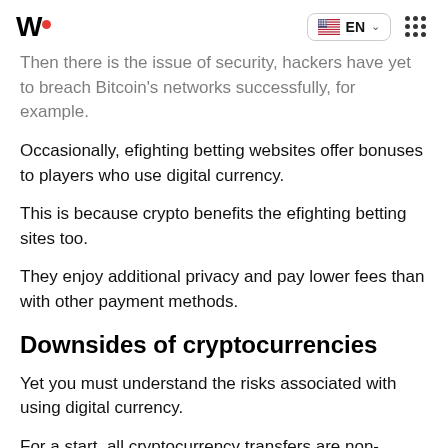W• EN :::
Then there is the issue of security, hackers have yet to breach Bitcoin's networks successfully, for example.
Occasionally, efighting betting websites offer bonuses to players who use digital currency.
This is because crypto benefits the efighting betting sites too.
They enjoy additional privacy and pay lower fees than with other payment methods.
Downsides of cryptocurrencies
Yet you must understand the risks associated with using digital currency.
For a start, all cryptocurrency transfers are non-reversible.
The problem here is that you lose everything you transfer if you deposit with a fraudulent betting site